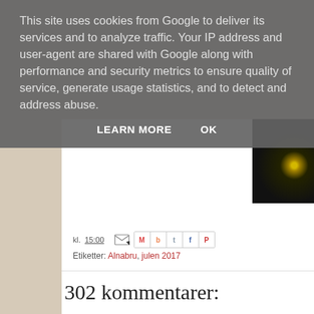This site uses cookies from Google to deliver its services and to analyze traffic. Your IP address and user-agent are shared with Google along with performance and security metrics to ensure quality of service, generate usage statistics, and to detect and address abuse.
LEARN MORE   OK
[Figure (photo): Night photo showing a small bright yellow light (lamp) against a dark background with some tree silhouettes]
kl. 15:00
Etiketter: Alnabru, julen 2017
302 kommentarer: